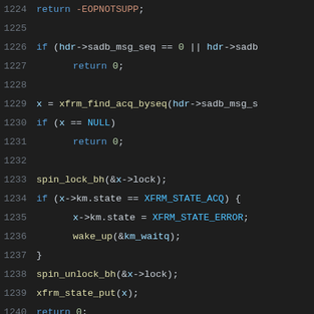Code listing lines 1224-1245, C source code showing xfrm state handling and pfkey_add function definition